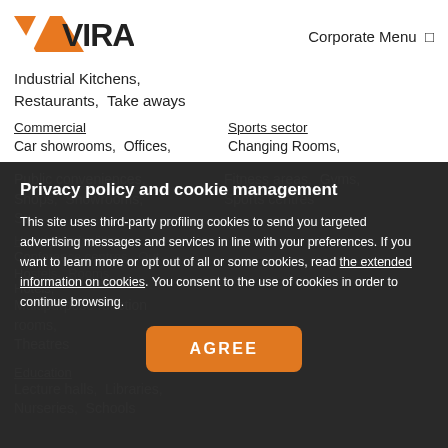[Figure (logo): VIRAG logo with orange chevron/arrow graphic and black text]
Corporate Menu
Industrial Kitchens, Restaurants, Take aways
Commercial
Sports sector
Car showrooms, Offices,
Changing Rooms,
Public conveniences, Shops, Showrooms,
Fitness areas, Gyms, Sports centres
Hospitality facilities
Conference centres, Outdoor
Hostels, Rooms
Hotels,
Multipurpose function rooms, Theatres
Education
Lecture halls, Libraries, Nurseries, Schools
Privacy policy and cookie management
This site uses third-party profiling cookies to send you targeted advertising messages and services in line with your preferences. If you want to learn more or opt out of all or some cookies, read the extended information on cookies. You consent to the use of cookies in order to continue browsing.
AGREE